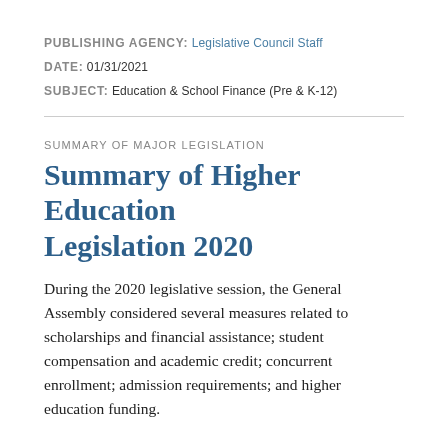PUBLISHING AGENCY: Legislative Council Staff
DATE: 01/31/2021
SUBJECT: Education & School Finance (Pre & K-12)
SUMMARY OF MAJOR LEGISLATION
Summary of Higher Education Legislation 2020
During the 2020 legislative session, the General Assembly considered several measures related to scholarships and financial assistance; student compensation and academic credit; concurrent enrollment; admission requirements; and higher education funding.